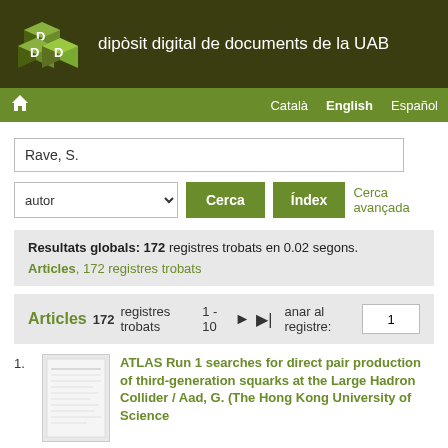dipòsit digital de documents de la UAB
[Figure (logo): DDD logo - three green 3D cube blocks with letter D on each]
Català  English  Español
Rave, S.
autor  Cerca  Índex  Cerca avançada
Resultats globals: 172 registres trobats en 0.02 segons.
Articles, 172 registres trobats
Articles  172 registres trobats  1 - 10  ▶  ⏭  anar al registre: 1
1. ATLAS Run 1 searches for direct pair production of third-generation squarks at the Large Hadron Collider / Aad, G. (The Hong Kong University of Science